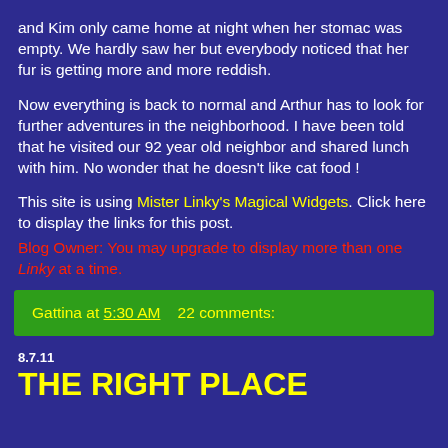and Kim only came home at night when her stomac was empty. We hardly saw her but everybody noticed that her fur is getting more and more reddish.
Now everything is back to normal and Arthur has to look for further adventures in the neighborhood. I have been told that he visited our 92 year old neighbor and shared lunch with him. No wonder that he doesn't like cat food !
This site is using Mister Linky's Magical Widgets. Click here to display the links for this post. Blog Owner: You may upgrade to display more than one Linky at a time.
Gattina at 5:30 AM   22 comments:
8.7.11
THE RIGHT PLACE